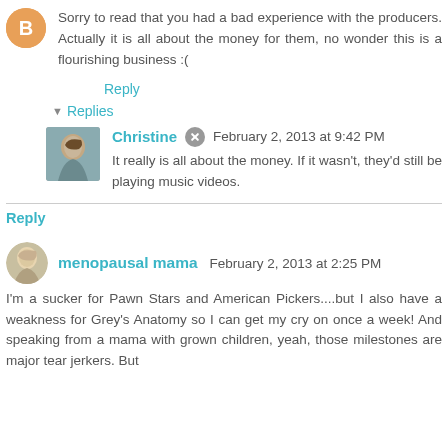Sorry to read that you had a bad experience with the producers. Actually it is all about the money for them, no wonder this is a flourishing business :(
Reply
Replies
Christine  February 2, 2013 at 9:42 PM
It really is all about the money. If it wasn't, they'd still be playing music videos.
Reply
menopausal mama  February 2, 2013 at 2:25 PM
I'm a sucker for Pawn Stars and American Pickers....but I also have a weakness for Grey's Anatomy so I can get my cry on once a week! And speaking from a mama with grown children, yeah, those milestones are major tear jerkers. But